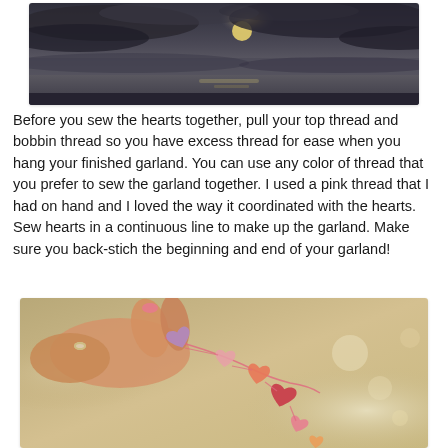[Figure (photo): Top portion of photo showing a dramatic cloudy sky with a glowing sun/light source partially obscured by dark clouds, with a hint of water or landscape below.]
Before you sew the hearts together, pull your top thread and bobbin thread so you have excess thread for ease when you hang your finished garland. You can use any color of thread that you prefer to sew the garland together. I used a pink thread that I had on hand and I loved the way it coordinated with the hearts. Sew hearts in a continuous line to make up the garland. Make sure you back-stich the beginning and end of your garland!
[Figure (photo): Close-up photo of a hand holding a felt heart garland with multiple small hearts in pink, red, and purple colors strung together with pink thread, with a bokeh background.]